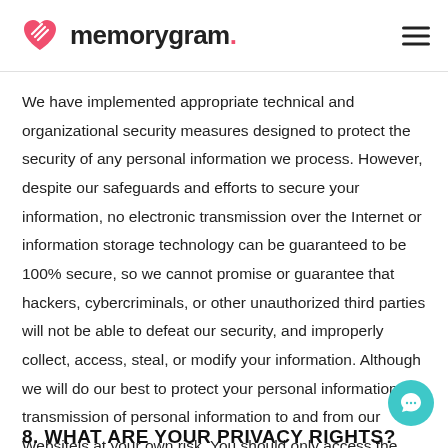memorygram.
We have implemented appropriate technical and organizational security measures designed to protect the security of any personal information we process. However, despite our safeguards and efforts to secure your information, no electronic transmission over the Internet or information storage technology can be guaranteed to be 100% secure, so we cannot promise or guarantee that hackers, cybercriminals, or other unauthorized third parties will not be able to defeat our security, and improperly collect, access, steal, or modify your information. Although we will do our best to protect your personal information, transmission of personal information to and from our Websiteis at your own risk. You should only access the Websitewithin a secure environ
8. WHAT ARE YOUR PRIVACY RIGHTS?